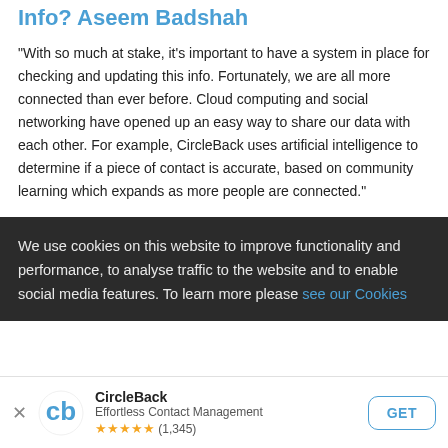Do You Really Have Your Firms Lead Info? Aseem Badshah
"With so much at stake, it's important to have a system in place for checking and updating this info. Fortunately, we are all more connected than ever before. Cloud computing and social networking have opened up an easy way to share our data with each other. For example, CircleBack uses artificial intelligence to determine if a piece of contact is accurate, based on community learning which expands as more people are connected."
We use cookies on this website to improve functionality and performance, to analyse traffic to the website and to enable social media features. To learn more please see our Cookies
CircleBack
Effortless Contact Management
★★★★★ (1,345)